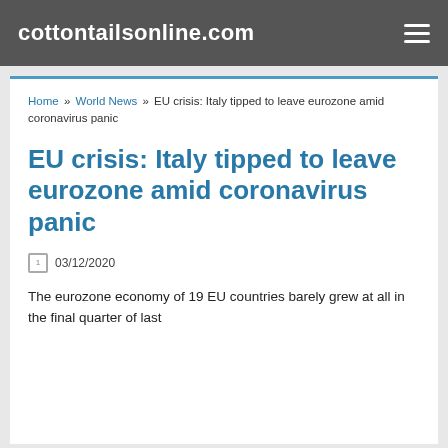cottontailsonline.com
Home » World News » EU crisis: Italy tipped to leave eurozone amid coronavirus panic
EU crisis: Italy tipped to leave eurozone amid coronavirus panic
03/12/2020
The eurozone economy of 19 EU countries barely grew at all in the final quarter of last